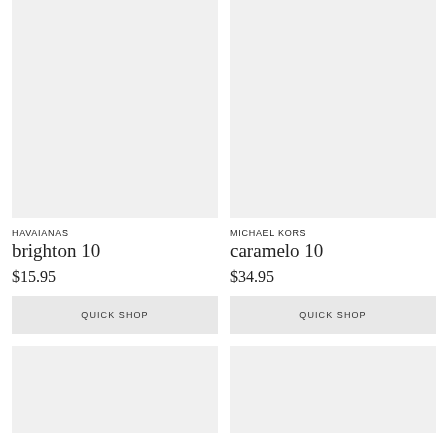[Figure (photo): Product image placeholder for Havaianas brighton 10, light gray background]
[Figure (photo): Product image placeholder for Michael Kors caramelo 10, light gray background]
HAVAIANAS
brighton 10
$15.95
QUICK SHOP
MICHAEL KORS
caramelo 10
$34.95
QUICK SHOP
[Figure (photo): Bottom left product image placeholder, light gray background]
[Figure (photo): Bottom right product image placeholder, light gray background]